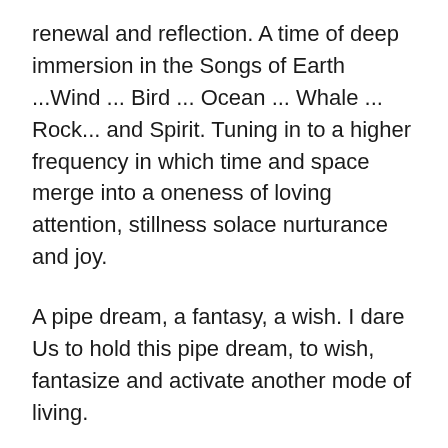renewal and reflection. A time of deep immersion in the Songs of Earth ...Wind ... Bird ... Ocean ... Whale ... Rock... and Spirit. Tuning in to a higher frequency in which time and space merge into a oneness of loving attention, stillness solace nurturance and joy.
A pipe dream, a fantasy, a wish. I dare Us to hold this pipe dream, to wish, fantasize and activate another mode of living.
I dare us to not restart the old but chart another path through the rubble, the restrictions controls vanities addictions of yesterday into the Present unencumbered with all that seeks to destroy our